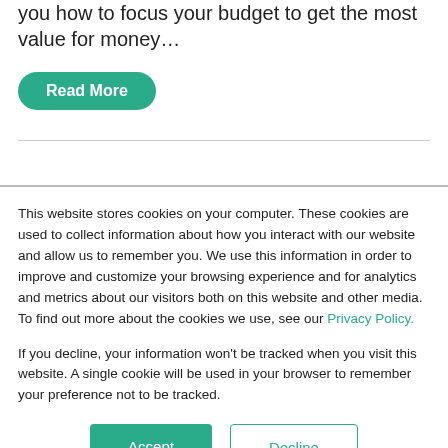you how to focus your budget to get the most value for money…
Read More
This website stores cookies on your computer. These cookies are used to collect information about how you interact with our website and allow us to remember you. We use this information in order to improve and customize your browsing experience and for analytics and metrics about our visitors both on this website and other media. To find out more about the cookies we use, see our Privacy Policy.
If you decline, your information won't be tracked when you visit this website. A single cookie will be used in your browser to remember your preference not to be tracked.
Accept
Decline